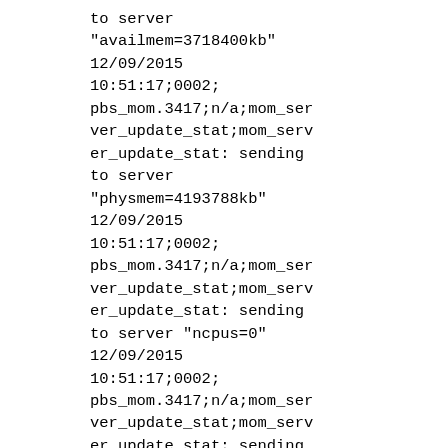to server
"availmem=3718400kb"
12/09/2015
10:51:17;0002;
pbs_mom.3417;n/a;mom_ser
ver_update_stat;mom_serv
er_update_stat: sending
to server
"physmem=4193788kb"
12/09/2015
10:51:17;0002;
pbs_mom.3417;n/a;mom_ser
ver_update_stat;mom_serv
er_update_stat: sending
to server "ncpus=0"
12/09/2015
10:51:17;0002;
pbs_mom.3417;n/a;mom_ser
ver_update_stat;mom_serv
er_update_stat: sending
to server "loadave=0.00"
12/09/2015
10:51:17;0002;
pbs_mom.3417;n/a;mom_ser
ver_update_stat;mom_serv
er_update_stat: sending
to server "gres="
12/09/2015
10:51:17;0002;
pbs_mom.3417;n/a;mom_ser